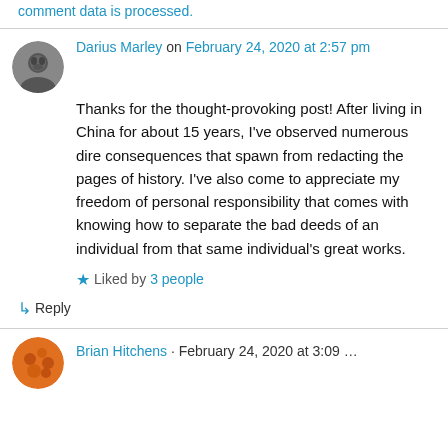comment data is processed.
Darius Marley on February 24, 2020 at 2:57 pm
Thanks for the thought-provoking post! After living in China for about 15 years, I've observed numerous dire consequences that spawn from redacting the pages of history. I've also come to appreciate my freedom of personal responsibility that comes with knowing how to separate the bad deeds of an individual from that same individual's great works.
Liked by 3 people
Reply